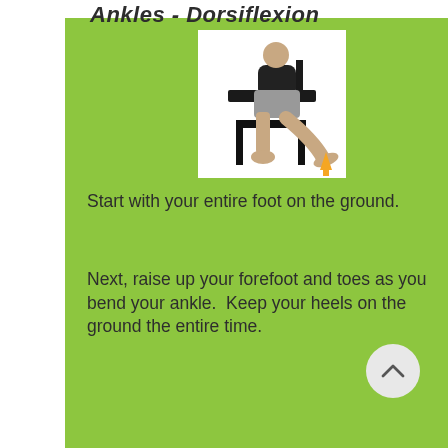Ankles - Dorsiflexion
[Figure (photo): Person seated on a stool/chair with legs extended, demonstrating ankle dorsiflexion exercise. An orange upward arrow is shown near the foot.]
Start with your entire foot on the ground.
Next, raise up your forefoot and toes as you bend your ankle.  Keep your heels on the ground the entire time.